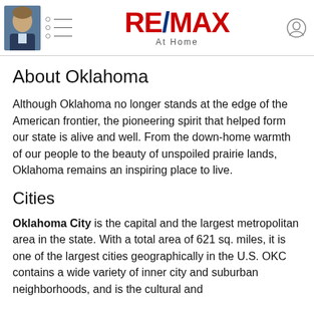RE/MAX At Home
About Oklahoma
Although Oklahoma no longer stands at the edge of the American frontier, the pioneering spirit that helped form our state is alive and well. From the down-home warmth of our people to the beauty of unspoiled prairie lands, Oklahoma remains an inspiring place to live.
Cities
Oklahoma City is the capital and the largest metropolitan area in the state. With a total area of 621 sq. miles, it is one of the largest cities geographically in the U.S. OKC contains a wide variety of inner city and suburban neighborhoods, and is the cultural and